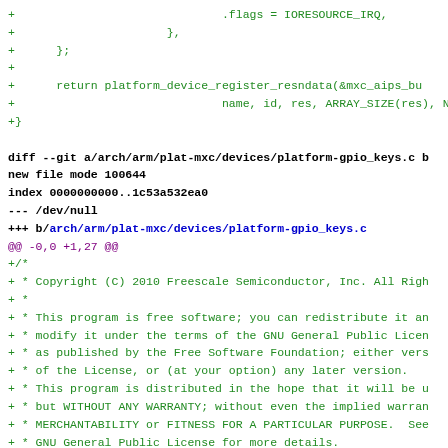Code diff showing platform-gpio_keys.c file addition with copyright header and GPL license text